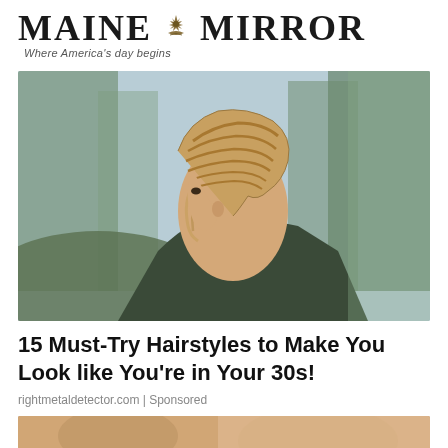MAINE MIRROR — Where America's day begins
[Figure (photo): Side profile of a young woman with an elaborate braided updo hairstyle, wearing a dark olive jacket, with blurred trees in the background outdoors.]
15 Must-Try Hairstyles to Make You Look like You're in Your 30s!
rightmetaldetector.com | Sponsored
[Figure (photo): Partial bottom image, cropped — appears to show another hairstyle photo.]